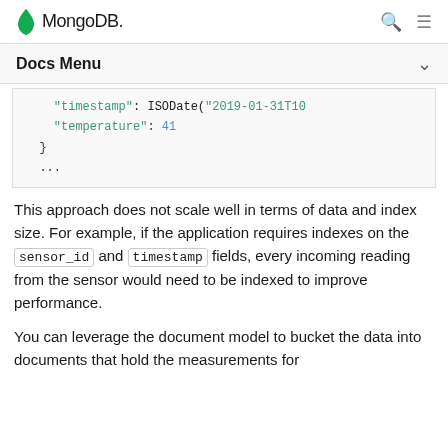MongoDB
Docs Menu
"timestamp": ISODate("2019-01-31T10
"temperature": 41
}
...
This approach does not scale well in terms of data and index size. For example, if the application requires indexes on the sensor_id and timestamp fields, every incoming reading from the sensor would need to be indexed to improve performance.
You can leverage the document model to bucket the data into documents that hold the measurements for